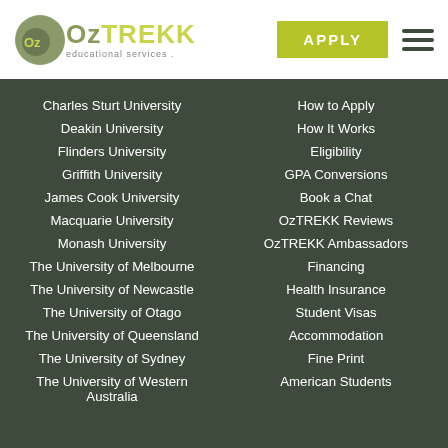[Figure (logo): OzTREKK educational services logo with grey circle and olive/yellow text]
Charles Sturt University
Deakin University
Flinders University
Griffith University
James Cook University
Macquarie University
Monash University
The University of Melbourne
The University of Newcastle
The University of Otago
The University of Queensland
The University of Sydney
The University of Western Australia
How to Apply
How It Works
Eligibility
GPA Conversions
Book a Chat
OzTREKK Reviews
OzTREKK Ambassadors
Financing
Health Insurance
Student Visas
Accommodation
Fine Print
American Students